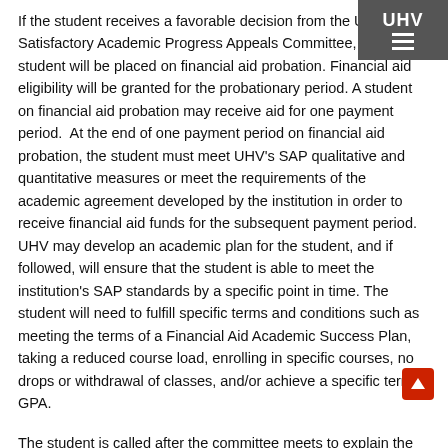UHV ≡
If the student receives a favorable decision from the UHV Satisfactory Academic Progress Appeals Committee, the student will be placed on financial aid probation. Financial aid eligibility will be granted for the probationary period. A student on financial aid probation may receive aid for one payment period.  At the end of one payment period on financial aid probation, the student must meet UHV's SAP qualitative and quantitative measures or meet the requirements of the academic agreement developed by the institution in order to receive financial aid funds for the subsequent payment period. UHV may develop an academic plan for the student, and if followed, will ensure that the student is able to meet the institution's SAP standards by a specific point in time. The student will need to fulfill specific terms and conditions such as meeting the terms of a Financial Aid Academic Success Plan, taking a reduced course load, enrolling in specific courses, no drops or withdrawal of classes, and/or achieve a specific term GPA.
The student is called after the committee meets to explain the results of the appeal. An email will also be sent to the student via E-forms notifying him or her of the results of